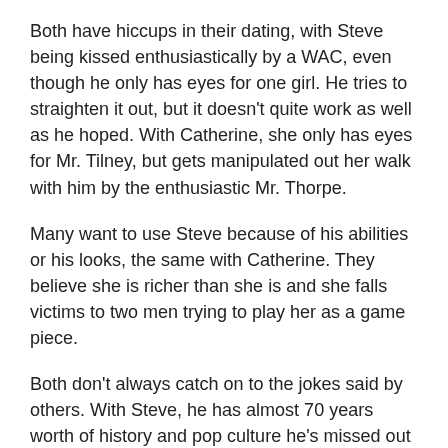Both have hiccups in their dating, with Steve being kissed enthusiastically by a WAC, even though he only has eyes for one girl. He tries to straighten it out, but it doesn't quite work as well as he hoped. With Catherine, she only has eyes for Mr. Tilney, but gets manipulated out her walk with him by the enthusiastic Mr. Thorpe.
Many want to use Steve because of his abilities or his looks, the same with Catherine. They believe she is richer than she is and she falls victims to two men trying to play her as a game piece.
Both don't always catch on to the jokes said by others. With Steve, he has almost 70 years worth of history and pop culture he's missed out on, and Catherine doesn't always pick up on sarcasm.